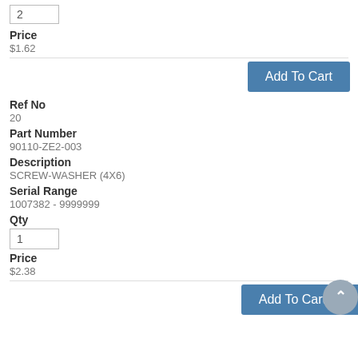2
Price
$1.62
Add To Cart
Ref No
20
Part Number
90110-ZE2-003
Description
SCREW-WASHER (4X6)
Serial Range
1007382 - 9999999
Qty
1
Price
$2.38
Add To Cart